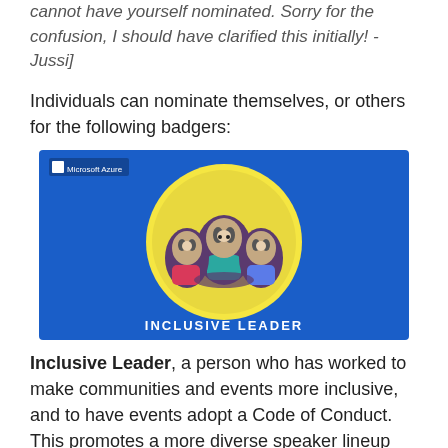cannot have yourself nominated. Sorry for the confusion, I should have clarified this initially! -Jussi]
Individuals can nominate themselves, or others for the following badgers:
[Figure (illustration): Microsoft Azure branded badge image showing cartoon badgers hugging in a circle on a blue background, with the text 'INCLUSIVE LEADER' at the bottom]
Inclusive Leader, a person who has worked to make communities and events more inclusive, and to have events adopt a Code of Conduct. This promotes a more diverse speaker lineup and audience members.